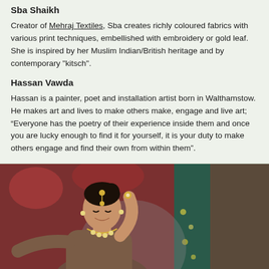Sba Shaikh
Creator of Mehraj Textiles, Sba creates richly coloured fabrics with various print techniques, embellished with embroidery or gold leaf. She is inspired by her Muslim Indian/British heritage and by contemporary "kitsch".
Hassan Vawda
Hassan is a painter, poet and installation artist born in Walthamstow. He makes art and lives to make others make, engage and live art; “Everyone has the poetry of their experience inside them and once you are lucky enough to find it for yourself, it is your duty to make others engage and find their own from within them”.
[Figure (photo): A woman in traditional South Asian attire, wearing jewellery including a maang tikka headpiece, earrings, and a necklace, posed with one hand raised near her head. She is wearing a patterned brown/grey long-sleeved top. There is a red backdrop and green curtain visible in the background.]